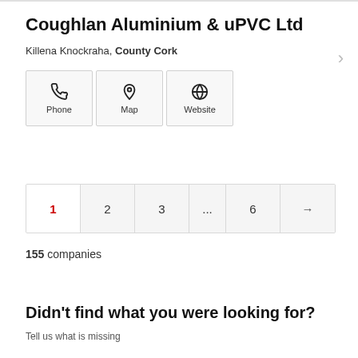Coughlan Aluminium & uPVC Ltd
Killena Knockraha, County Cork
[Figure (infographic): Three icon buttons: Phone (phone handset icon), Map (map pin icon), Website (globe icon)]
1 2 3 ... 6 →
155 companies
Didn't find what you were looking for?
Tell us what is missing